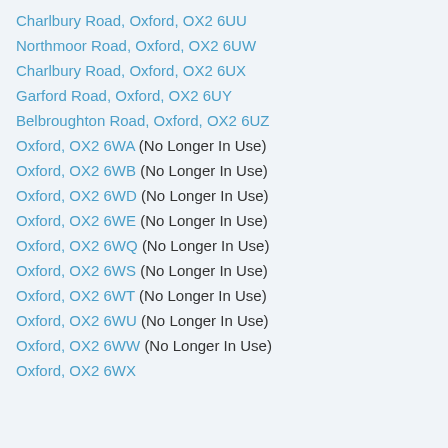Charlbury Road, Oxford, OX2 6UU
Northmoor Road, Oxford, OX2 6UW
Charlbury Road, Oxford, OX2 6UX
Garford Road, Oxford, OX2 6UY
Belbroughton Road, Oxford, OX2 6UZ
Oxford, OX2 6WA (No Longer In Use)
Oxford, OX2 6WB (No Longer In Use)
Oxford, OX2 6WD (No Longer In Use)
Oxford, OX2 6WE (No Longer In Use)
Oxford, OX2 6WQ (No Longer In Use)
Oxford, OX2 6WS (No Longer In Use)
Oxford, OX2 6WT (No Longer In Use)
Oxford, OX2 6WU (No Longer In Use)
Oxford, OX2 6WW (No Longer In Use)
Oxford, OX2 6WX